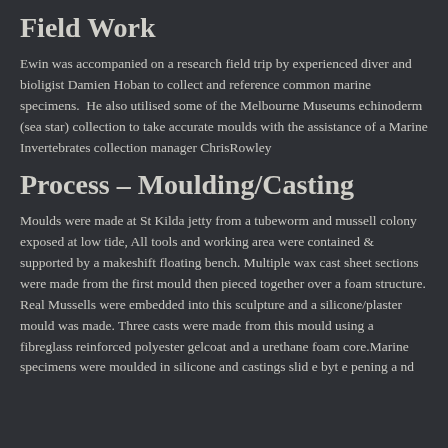Field Work
Ewin was accompanied on a research field trip by experienced diver and bioligist Damien Hoban to collect and reference common marine specimens.  He also utilised some of the Melbourne Museums echinoderm (sea star) collection to take accurate moulds with the assistance of a Marine Invertebrates collection manager ChrisRowley
Process – Moulding/Casting
Moulds were made at St Kilda jetty from a tubeworm and mussell colony exposed at low tide, All tools and working area were contained & supported by a makeshift floating bench. Multiple wax cast sheet sections were made from the first mould then pieced together over a foam structure. Real Mussells were embedded into this sculpture and a silicone/plaster mould was made. Three casts were made from this mould using a fibreglass reinforced polyester gelcoat and a urethane foam core.Marine specimens were moulded in silicone and castings slid e byt e pening a nd…